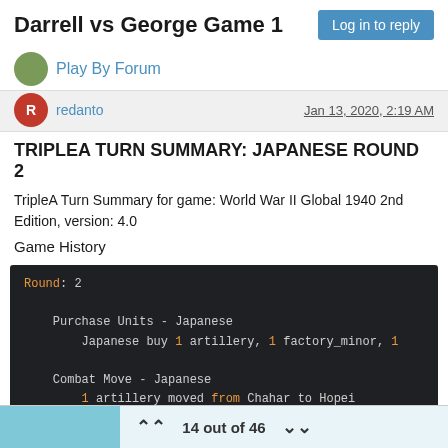Darrell vs George Game 1
Play By Forum
Log in to reply
redanto   Jan 13, 2020, 2:19 AM
TRIPLEA TURN SUMMARY: JAPANESE ROUND 2
TripleA Turn Summary for game: World War II Global 1940 2nd Edition, version: 4.0
Game History
[Figure (screenshot): Code block showing game log: Round: 2, Purchase Units - Japanese: Japanese buy 1 artillery, 1 factory_minor, 1... Combat Move - Japanese: 1 artillery moved from Chahar to Hopei, 1 artillery moved from Anhwe to Kweichow, 1 artillery and 4 infantry moved from Anhwe]
14 out of 46